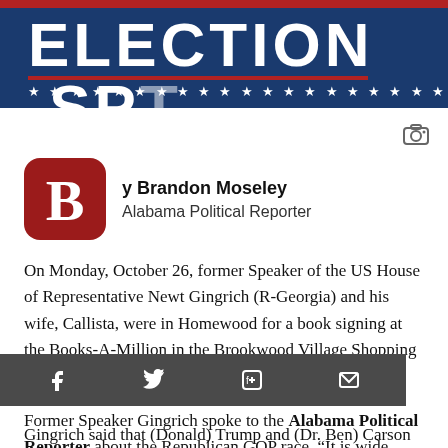[Figure (illustration): Election Special banner with dark blue background, red top bar, large white bold text 'ELECTION SP' partially visible, red underline, and white stars below]
y Brandon Moseley
Alabama Political Reporter
On Monday, October 26, former Speaker of the US House of Representative Newt Gingrich (R-Georgia) and his wife, Callista, were in Homewood for a book signing at the Books-A-Million in the Brookwood Village Shopping Center.
Former Speaker Gingrich spoke to the Alabama Political Reporter about the Republican GOP race. “It is wide open,” Speaker Gingrich said of the Republican Presidential contest.
Gingrich said that (Donald) Trump and (Dr. Ben) Carson